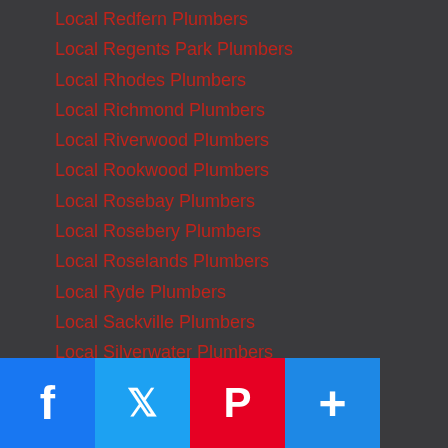Local Redfern Plumbers
Local Regents Park Plumbers
Local Rhodes Plumbers
Local Richmond Plumbers
Local Riverwood Plumbers
Local Rookwood Plumbers
Local Rosebay Plumbers
Local Rosebery Plumbers
Local Roselands Plumbers
Local Ryde Plumbers
Local Sackville Plumbers
Local Silverwater Plumbers
Local Smeaton Grange Plumbers
Local Spring Farm Plumbers
Local Strathfield Plumbers
Local Surry Hills Plumbers
Local Tamarama Plumbers
Local Taylors Bay Plumbers